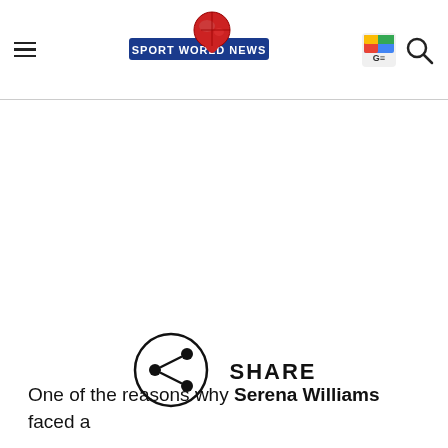Sport World News
[Figure (logo): Sport World News logo with globe and banner]
[Figure (infographic): Share button icon (circle with share symbol) and SHARE text]
One of the reasons why Serena Williams faced a